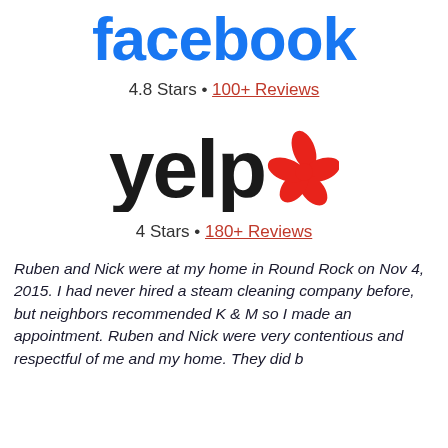[Figure (logo): Facebook logo in bold blue text]
4.8 Stars • 100+ Reviews
[Figure (logo): Yelp logo with red burst icon]
4 Stars • 180+ Reviews
Ruben and Nick were at my home in Round Rock on Nov 4, 2015. I had never hired a steam cleaning company before, but neighbors recommended K & M so I made an appointment. Ruben and Nick were very contentious and respectful of me and my home. They did bring something that was recommended...